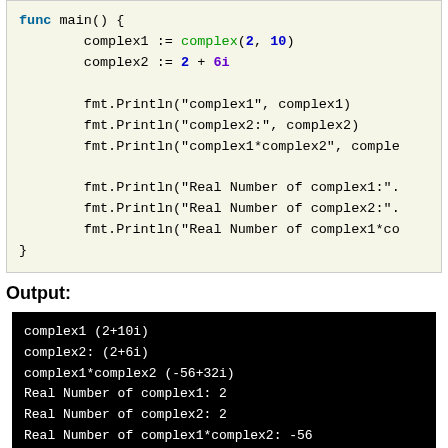[Figure (screenshot): Go code snippet showing main() function with complex number declarations and fmt.Println statements]
Output:
[Figure (screenshot): Terminal output showing: complex1 (2+10i), complex2: (2+6i), complex1*complex2 (-56+32i), Real Number of complex1: 2, Real Number of complex2: 2, Real Number of complex1*complex2: -56]
Golang builtin Package »